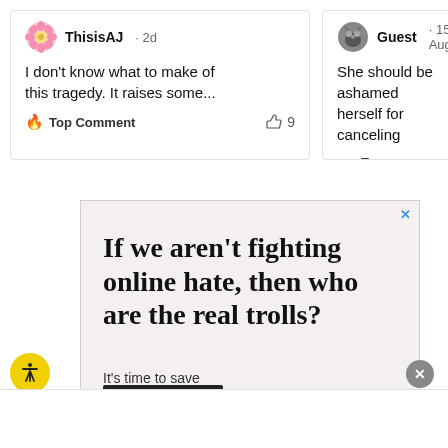ThisisAJ · 2d
I don't know what to make of this tragedy. It raises some...
🔥 Top Comment   👍 9
Guest · 15 Aug
She should be ashamed herself for canceling
🔥 Top Comment
[Figure (screenshot): Advertisement banner with text: 'If we aren't fighting online hate, then who are the real trolls? It's time to save online conversation.' with a close X button and a dark call-to-action button at the bottom.]
If we aren't fighting online hate, then who are the real trolls?
It's time to save online conversation.